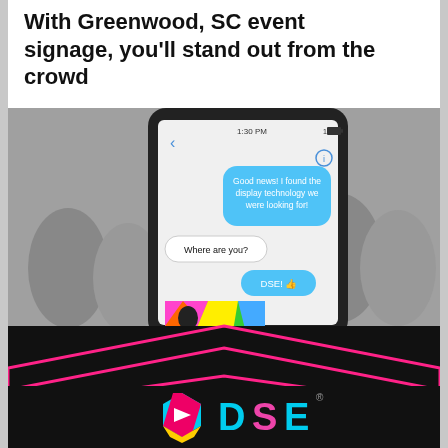With Greenwood, SC event signage, you'll stand out from the crowd
[Figure (photo): A smartphone displaying a messaging conversation with blue (sent) and white (received) chat bubbles. Sent message: 'Good news! I found the display technology we were looking for!' Received message: 'Where are you?' Sent reply: 'DSE! 👍'. Below the phone is a black triangular shape with a pink outline, and the DSE logo (a cyan/magenta/yellow hexagon icon with 'DSE' text in cyan/magenta gradient and a registered trademark symbol).]